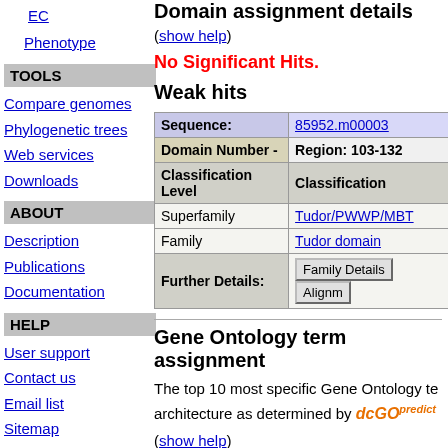EC
Phenotype
TOOLS
Compare genomes
Phylogenetic trees
Web services
Downloads
ABOUT
Description
Publications
Documentation
HELP
User support
Contact us
Email list
Sitemap
Domain assignment details
(show help)
No Significant Hits.
Weak hits
| Sequence: | 85952.m00003 |
| --- | --- |
| Domain Number - | Region: 103-132 |
| Classification Level | Classification |
| Superfamily | Tudor/PWWP/MBT |
| Family | Tudor domain |
| Further Details: | Family Details  Alignm... |
Gene Ontology term assignment
The top 10 most specific Gene Ontology terms assigned to this architecture as determined by dcGOpredict
(show help)